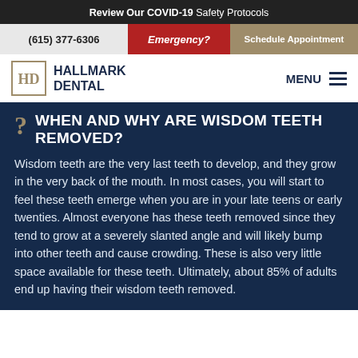Review Our COVID-19 Safety Protocols
(615) 377-6306 | Emergency? | Schedule Appointment
HALLMARK DENTAL | MENU
WHEN AND WHY ARE WISDOM TEETH REMOVED?
Wisdom teeth are the very last teeth to develop, and they grow in the very back of the mouth. In most cases, you will start to feel these teeth emerge when you are in your late teens or early twenties. Almost everyone has these teeth removed since they tend to grow at a severely slanted angle and will likely bump into other teeth and cause crowding. These is also very little space available for these teeth. Ultimately, about 85% of adults end up having their wisdom teeth removed.